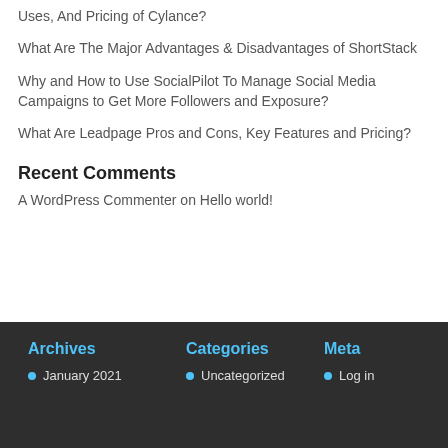Uses, And Pricing of Cylance?
What Are The Major Advantages & Disadvantages of ShortStack
Why and How to Use SocialPilot To Manage Social Media Campaigns to Get More Followers and Exposure?
What Are Leadpage Pros and Cons, Key Features and Pricing?
Recent Comments
A WordPress Commenter on Hello world!
Archives
Categories
Meta
January 2021
Uncategorized
Log in